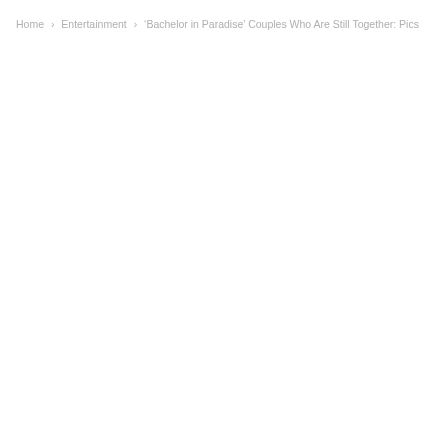Home › Entertainment › 'Bachelor in Paradise' Couples Who Are Still Together: Pics